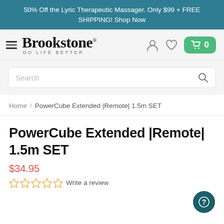50% Off the Lyric Therapeutic Massager. Only $99 + FREE SHIPPING! Shop Now
[Figure (logo): Brookstone logo with hamburger menu, user icon, heart icon, and green cart button showing 0]
[Figure (screenshot): Search bar with magnifying glass icon]
Home / PowerCube Extended |Remote| 1.5m SET
PowerCube Extended |Remote| 1.5m SET
$34.95
☆☆☆☆☆ Write a review